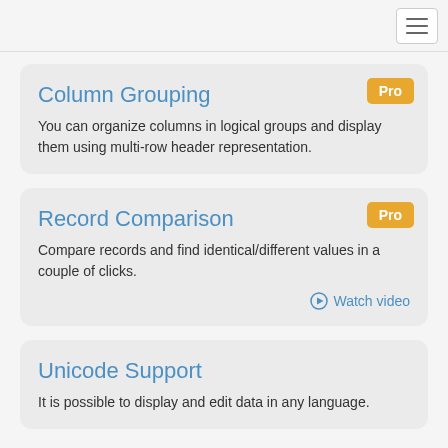Column Grouping
You can organize columns in logical groups and display them using multi-row header representation.
Record Comparison
Compare records and find identical/different values in a couple of clicks.
Watch video
Unicode Support
It is possible to display and edit data in any language.